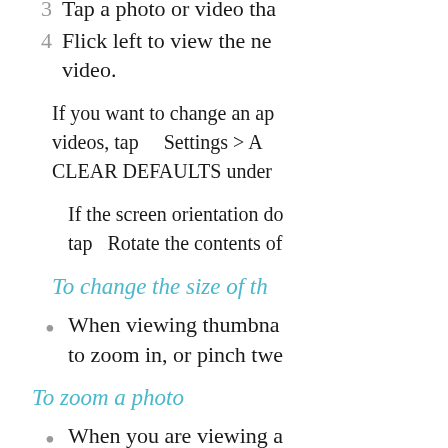3  Tap a photo or video tha
4  Flick left to view the ne video.
If you want to change an ap videos, tap Settings > A CLEAR DEFAULTS under
If the screen orientation do tap Rotate the contents of
To change the size of th
When viewing thumbna to zoom in, or pinch twe
To zoom a photo
When you are viewing a together to zoom out.